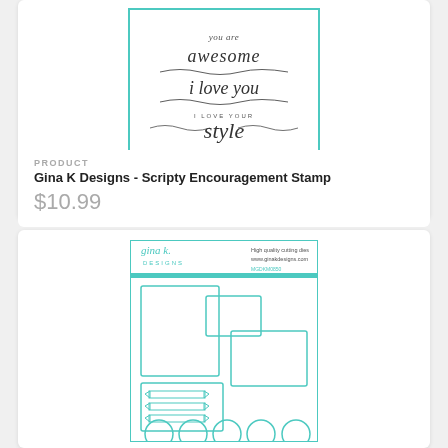[Figure (photo): Gina K Designs Scripty Encouragement Stamp product image showing script text 'you are awesome, i love you, i love your style' in a teal-bordered card]
PRODUCT
Gina K Designs - Scripty Encouragement Stamp
$10.99
[Figure (photo): Gina K Designs high quality cutting dies product package showing rectangular frames, banner shapes, and circle dies outlined in teal on white background]